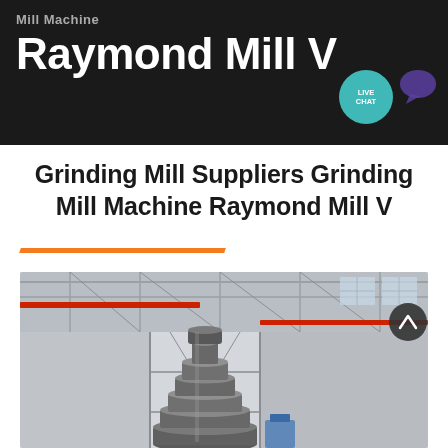Mill Machine Raymond Mill V
Grinding Mill Suppliers Grinding Mill Machine Raymond Mill V
[Figure (photo): Industrial Raymond grinding mill machine photographed inside a large factory/warehouse facility, showing a tall cylindrical multi-tiered metal grinding mill structure with steel framework and industrial equipment in the background.]